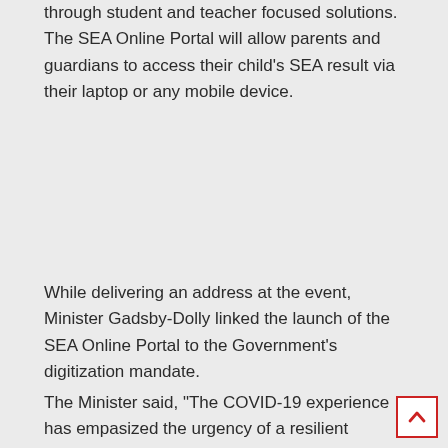through student and teacher focused solutions. The SEA Online Portal will allow parents and guardians to access their child's SEA result via their laptop or any mobile device.
While delivering an address at the event, Minister Gadsby-Dolly linked the launch of the SEA Online Portal to the Government's digitization mandate.
The Minister said, "The COVID-19 experience has empasized the urgency of a resilient education system, requiring innovation